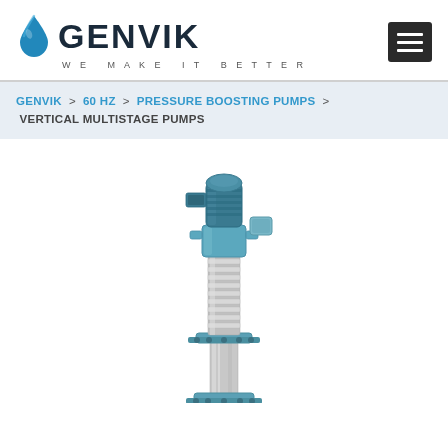[Figure (logo): GENVIK logo with water drop icon and tagline WE MAKE IT BETTER]
[Figure (other): Hamburger menu icon (three horizontal white lines on dark background)]
GENVIK  > 60 HZ  > PRESSURE BOOSTING PUMPS  >  VERTICAL MULTISTAGE PUMPS
[Figure (photo): Vertical multistage pump with teal/blue motor housing on top, stainless steel pump body below, with flange connections]